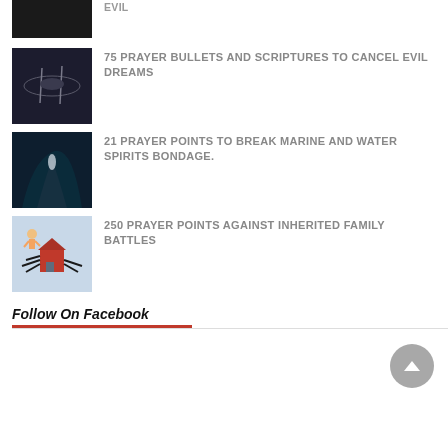(partial top item, cropped)
75 PRAYER BULLETS AND SCRIPTURES TO CANCEL EVIL DREAMS
21 PRAYER POINTS TO BREAK MARINE AND WATER SPIRITS BONDAGE.
250 PRAYER POINTS AGAINST INHERITED FAMILY BATTLES
Follow On Facebook